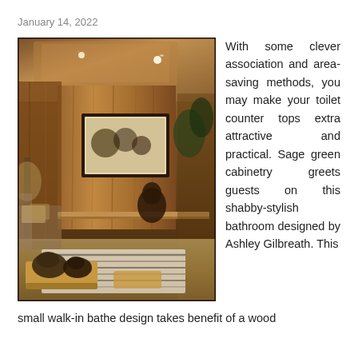January 14, 2022
[Figure (photo): Interior room with warm wood paneling, ceiling with recessed lights, framed artwork on wall, decorative bronze animal sculptures on low wooden platforms, zebra-print rug, ambient lighting]
With some clever association and area-saving methods, you may make your toilet counter tops extra attractive and practical. Sage green cabinetry greets guests on this shabby-stylish bathroom designed by Ashley Gilbreath. This small walk-in bathe design takes benefit of a wood